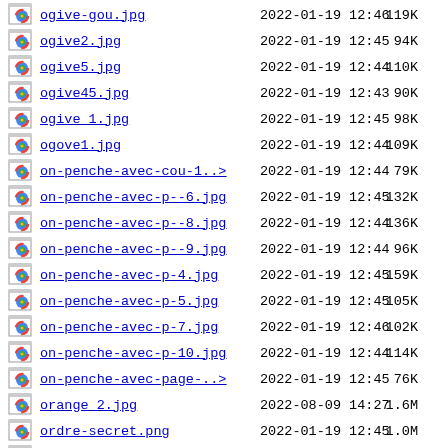ogive-gou.jpg  2022-01-19 12:46  119K
ogive2.jpg  2022-01-19 12:45  94K
ogive5.jpg  2022-01-19 12:44  110K
ogive45.jpg  2022-01-19 12:43  90K
ogive_1.jpg  2022-01-19 12:45  98K
ogove1.jpg  2022-01-19 12:44  109K
on-penche-avec-cou-1..>  2022-01-19 12:44  79K
on-penche-avec-p--6.jpg  2022-01-19 12:45  132K
on-penche-avec-p--8.jpg  2022-01-19 12:44  136K
on-penche-avec-p--9.jpg  2022-01-19 12:44  96K
on-penche-avec-p-4.jpg  2022-01-19 12:45  159K
on-penche-avec-p-5.jpg  2022-01-19 12:45  105K
on-penche-avec-p-7.jpg  2022-01-19 12:46  102K
on-penche-avec-p-10.jpg  2022-01-19 12:44  114K
on-penche-avec-page-..>  2022-01-19 12:45  76K
orange_2.jpg  2022-08-09 14:27  1.6M
ordre-secret.png  2022-01-19 12:45  1.0M
ou-senroche-la-nudit..>  2022-01-19 12:46  198K